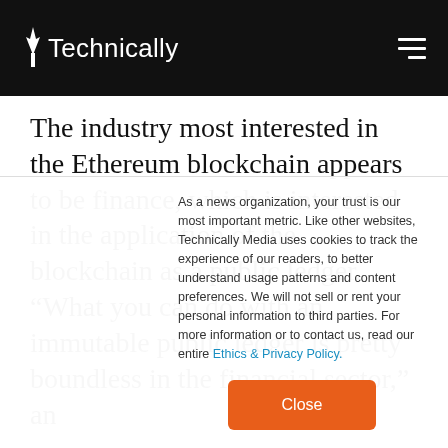Technically
The industry most interested in the Ethereum blockchain appears to be finance, which is interested in the application of the blockchain as a public ledger. “What you can do with an immutable public ledger is pretty boundless in the financial sector,” an
As a news organization, your trust is our most important metric. Like other websites, Technically Media uses cookies to track the experience of our readers, to better understand usage patterns and content preferences. We will not sell or rent your personal information to third parties. For more information or to contact us, read our entire Ethics & Privacy Policy.
Close